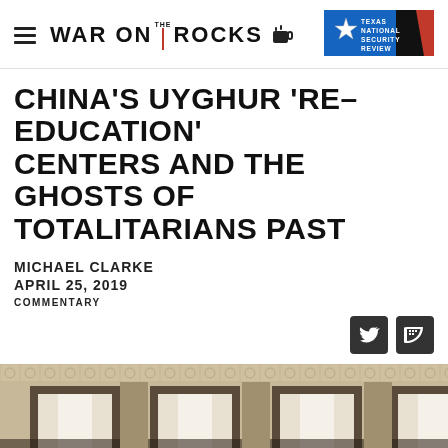WAR ON THE ROCKS
CHINA'S UYGHUR 'RE-EDUCATION' CENTERS AND THE GHOSTS OF TOTALITARIANS PAST
MICHAEL CLARKE
APRIL 25, 2019
COMMENTARY
[Figure (photo): Architectural photo showing ornate arched columns and decorative Islamic-style tilework on a building facade, with white curtains visible in the arched openings.]